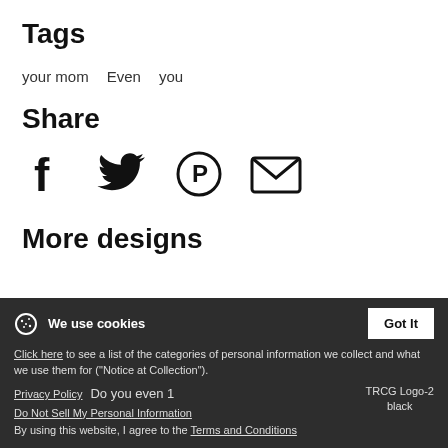Tags
your mom   Even   you
Share
[Figure (infographic): Social share icons: Facebook, Twitter, Pinterest, Email]
More designs
We use cookies  Got It
Click here to see a list of the categories of personal information we collect and what we use them for ("Notice at Collection").
Privacy Policy  Do you even 1  TRCG Logo-2 black
Do Not Sell My Personal Information
By using this website, I agree to the Terms and Conditions